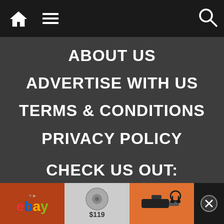Navigation bar with home icon, menu icon, search icon
ABOUT US
ADVERTISE WITH US
TERMS & CONDITIONS
PRIVACY POLICY
CHECK US OUT:
[Figure (logo): audiohopper logo - black rabbit/bird silhouette with text 'audiohopper']
[Figure (logo): Book & Film Globe logo with globe, book and pen icons]
[Figure (logo): California Globe logo with bear and globe icons]
Advertisement bar: eBay, $119 product, drill/tools ad, close button